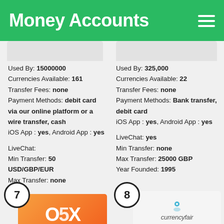Money Accounts
Used By: 15000000
Currencies Available: 161
Transfer Fees: none
Payment Methods: debit card via our online platform or a wire transfer, cash
iOS App : yes, Android App : yes

LiveChat:
Min Transfer: 50 USD/GBP/EUR
Max Transfer: none
Used By: 325,000
Currencies Available: 22
Transfer Fees: none
Payment Methods: Bank transfer, debit card
iOS App : yes, Android App : yes

LiveChat: yes
Min Transfer: none
Max Transfer: 25000 GBP
Year Founded: 1995